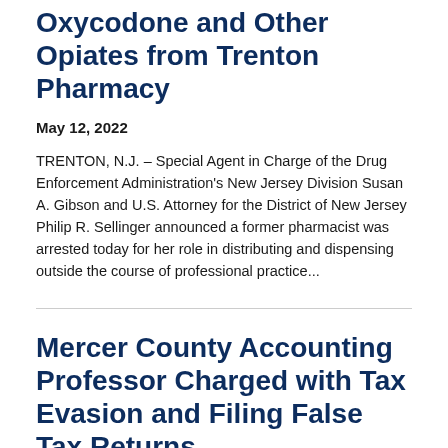Illegally Distributing Oxycodone and Other Opiates from Trenton Pharmacy
May 12, 2022
TRENTON, N.J. – Special Agent in Charge of the Drug Enforcement Administration's New Jersey Division Susan A. Gibson and U.S. Attorney for the District of New Jersey Philip R. Sellinger announced a former pharmacist was arrested today for her role in distributing and dispensing outside the course of professional practice...
Mercer County Accounting Professor Charged with Tax Evasion and Filing False Tax Returns